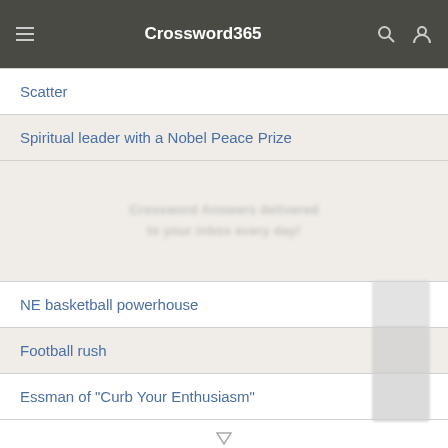Crossword365
Scatter
Spiritual leader with a Nobel Peace Prize
[Figure (screenshot): Blurred watermark area with faint repeated text advertising crossword answers delivered to inbox every day]
NE basketball powerhouse
Football rush
Essman of "Curb Your Enthusiasm"